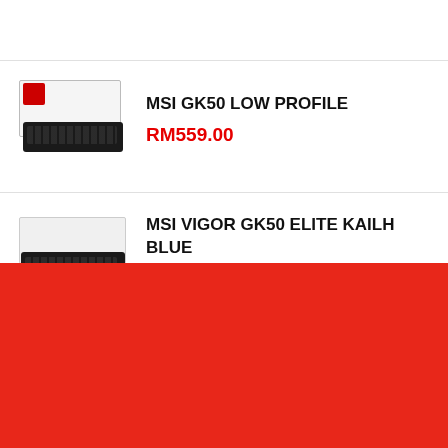[Figure (photo): MSI GK50 LOW PROFILE keyboard product image with red MSI logo label on box]
MSI GK50 LOW PROFILE
RM559.00
[Figure (photo): MSI VIGOR GK50 ELITE KAILH BLUE keyboard product image]
MSI VIGOR GK50 ELITE KAILH BLUE
RM369.00
[Figure (illustration): Red banner/background block at bottom of page]